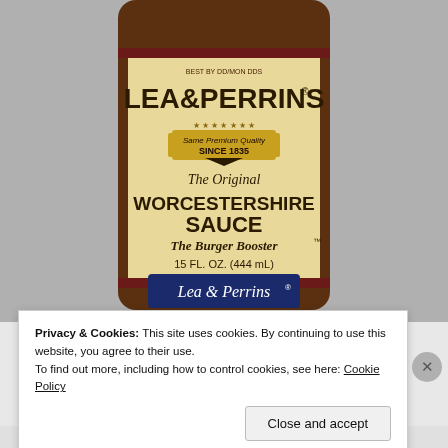[Figure (photo): Photo of a Lea & Perrins Worcestershire Sauce bottle (15 FL. OZ. / 444 mL) showing the label with 'Same Premium Quality Since 1835', 'The Original Worcestershire Sauce', 'The Burger Booster', and the Lea & Perrins signature. Brown glass bottle with cream/tan label and dark brown stripe.]
Privacy & Cookies: This site uses cookies. By continuing to use this website, you agree to their use.
To find out more, including how to control cookies, see here: Cookie Policy
Close and accept